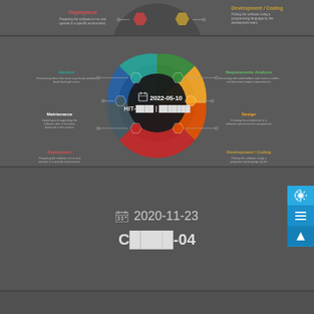[Figure (infographic): Top partial strip of SDLC cycle diagram showing Deployment section with colored hexagonal wheel icons]
[Figure (infographic): SDLC lifecycle wheel diagram with sections: Ideation, Requirements Analysis, Design, Development/Coding, Deployment, Maintenance. Overlaid with date 2022-05-10 and title HIT-xxxx | xxxxxxx]
2022-05-10
HIT-xxxx | xxxxxxx
[Figure (infographic): Dark grey card with date 2020-11-23 and title Cxxxx-04]
2020-11-23
Cxxxx-04
[Figure (infographic): Dark grey card with date 2020-10-28 and title Cxxxx-01]
2020-10-28
Cxxxx-01